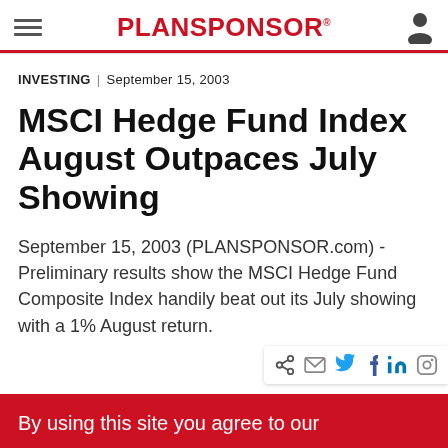PLANSPONSOR
INVESTING | September 15, 2003
MSCI Hedge Fund Index August Outpaces July Showing
September 15, 2003 (PLANSPONSOR.com) - Preliminary results show the MSCI Hedge Fund Composite Index handily beat out its July showing with a 1% August return.
By using this site you agree to our ... Privacy Policy